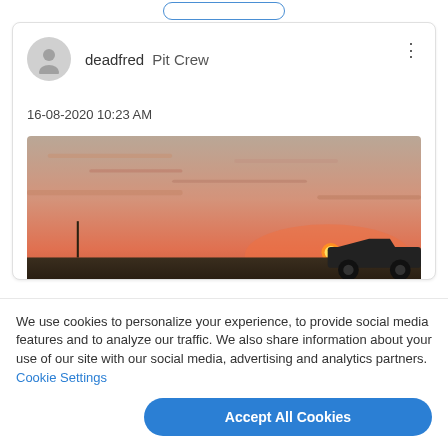[Figure (screenshot): Top partial view of a button with blue border, partially visible at top of page]
deadfred  Pit Crew
16-08-2020 10:23 AM
[Figure (photo): Sunset photo showing a car (convertible) in the lower right with a wide flat landscape and orange-red sky with the sun near the horizon]
We use cookies to personalize your experience, to provide social media features and to analyze our traffic. We also share information about your use of our site with our social media, advertising and analytics partners. Cookie Settings
Accept All Cookies